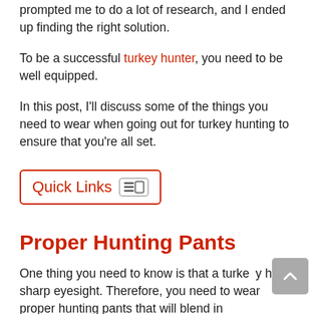first time I went turkey hunting. This prompted me to do a lot of research, and I ended up finding the right solution.
To be a successful turkey hunter, you need to be well equipped.
In this post, I'll discuss some of the things you need to wear when going out for turkey hunting to ensure that you're all set.
[Figure (other): Quick Links toggle button in red border box]
Proper Hunting Pants
One thing you need to know is that a turkey has sharp eyesight. Therefore, you need to wear proper hunting pants that will blend in